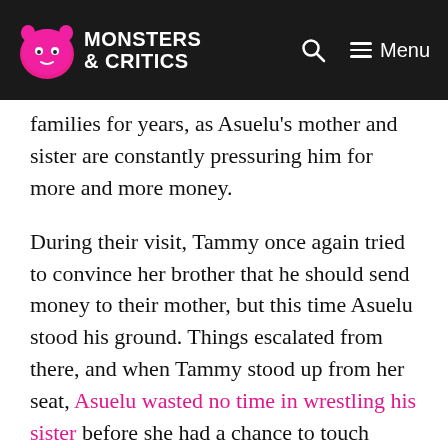Monsters & Critics — Menu
families for years, as Asuelu's mother and sister are constantly pressuring him for more and more money.
During their visit, Tammy once again tried to convince her brother that he should send money to their mother, but this time Asuelu stood his ground. Things escalated from there, and when Tammy stood up from her seat, Asuelu wasted no time in wrestling his sister before she had a chance to touch Kalani.
The night ended with Asuelu kicking both Tammy and his mom out of their home. Of course, Tammy came to the Tell All ready to confront her brother about the way he treated her and their mom, and